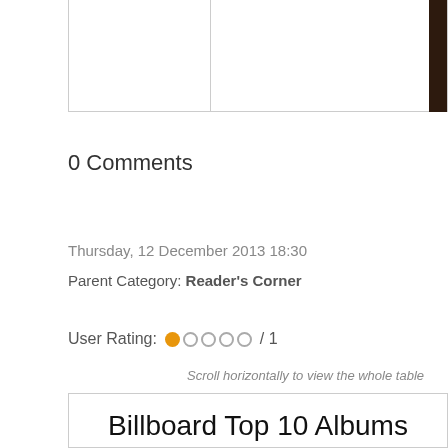0 Comments
Thursday, 12 December 2013 18:30
Parent Category: Reader's Corner
User Rating: ●○○○○ / 1
Scroll horizontally to view the whole table
|  | Billboard Top 10 Albums |  |
| --- | --- | --- |
| 1. | Prism
Katy Perry |  |